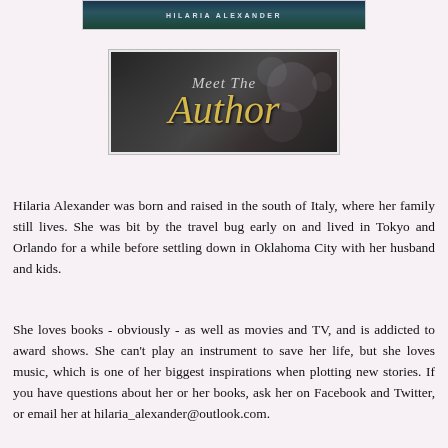[Figure (illustration): Book cover banner with author name HILARIA ALEXANDER on dark teal/green background]
[Figure (illustration): Meet The Author banner image with script text 'Meet The Author' in decorative font on dark greyscale background with bokeh effects]
Hilaria Alexander was born and raised in the south of Italy, where her family still lives. She was bit by the travel bug early on and lived in Tokyo and Orlando for a while before settling down in Oklahoma City with her husband and kids.
She loves books - obviously - as well as movies and TV, and is addicted to award shows. She can't play an instrument to save her life, but she loves music, which is one of her biggest inspirations when plotting new stories. If you have questions about her or her books, ask her on Facebook and Twitter, or email her at hilaria_alexander@outlook.com.